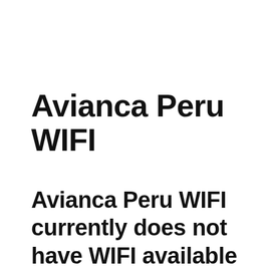Avianca Peru WIFI
Avianca Peru WIFI currently does not have WIFI available onboard its planes, either before or after the take-off. It Is expected that Avianca